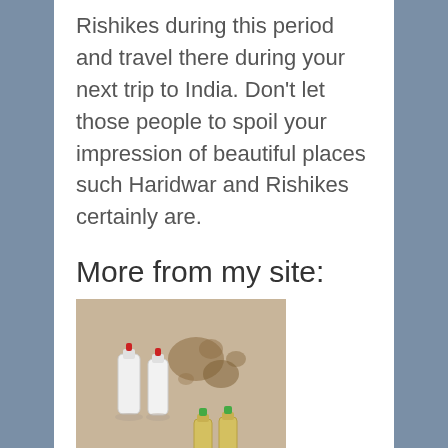Rishikes during this period and travel there during your next trip to India. Don't let those people to spoil your impression of beautiful places such Haridwar and Rishikes certainly are.
More from my site:
[Figure (photo): A photo showing small white and yellow/green bottles or vials on a sandy/stone surface with dark stains.]
Want to take water from Ganges? Maybe